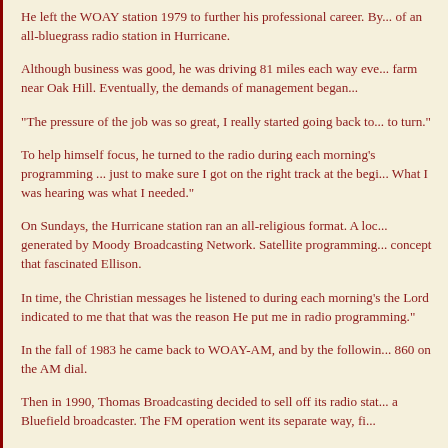He left the WOAY station 1979 to further his professional career. By... of an all-bluegrass radio station in Hurricane.
Although business was good, he was driving 81 miles each way eve... farm near Oak Hill. Eventually, the demands of management began...
"The pressure of the job was so great, I really started going back to... to turn."
To help himself focus, he turned to the radio during each morning's programming ... just to make sure I got on the right track at the begi... What I was hearing was what I needed."
On Sundays, the Hurricane station ran an all-religious format. A loc... generated by Moody Broadcasting Network. Satellite programming... concept that fascinated Ellison.
In time, the Christian messages he listened to during each morning's the Lord indicated to me that that was the reason He put me in radio programming."
In the fall of 1983 he came back to WOAY-AM, and by the followin... 860 on the AM dial.
Then in 1990, Thomas Broadcasting decided to sell off its radio stat... a Bluefield broadcaster. The FM operation went its separate way, fi...